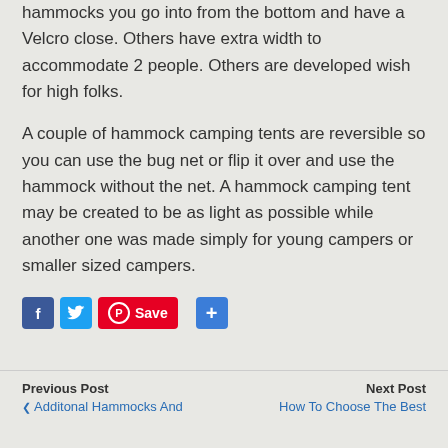hammocks you go into from the bottom and have a Velcro close. Others have extra width to accommodate 2 people. Others are developed wish for high folks.
A couple of hammock camping tents are reversible so you can use the bug net or flip it over and use the hammock without the net. A hammock camping tent may be created to be as light as possible while another one was made simply for young campers or smaller sized campers.
[Figure (other): Social media sharing buttons: Facebook (blue), Twitter (blue), Pinterest Save (red with circle P icon and Save label), and a blue plus/share button]
Previous Post | ❮ Additonal Hammocks And | Next Post | How To Choose The Best